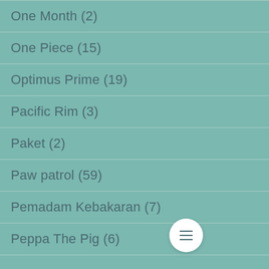One Month (2)
One Piece (15)
Optimus Prime (19)
Pacific Rim (3)
Paket (2)
Paw patrol (59)
Pemadam Kebakaran (7)
Peppa The Pig (6)